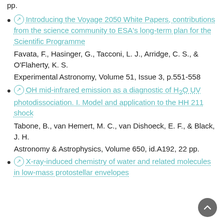pp.
Introducing the Voyage 2050 White Papers, contributions from the science community to ESA's long-term plan for the Scientific Programme
Favata, F., Hasinger, G., Tacconi, L. J., Arridge, C. S., & O'Flaherty, K. S.
Experimental Astronomy, Volume 51, Issue 3, p.551-558
OH mid-infrared emission as a diagnostic of H2O UV photodissociation. I. Model and application to the HH 211 shock
Tabone, B., van Hemert, M. C., van Dishoeck, E. F., & Black, J. H.
Astronomy & Astrophysics, Volume 650, id.A192, 22 pp.
X-ray-induced chemistry of water and related molecules in low-mass protostellar envelopes